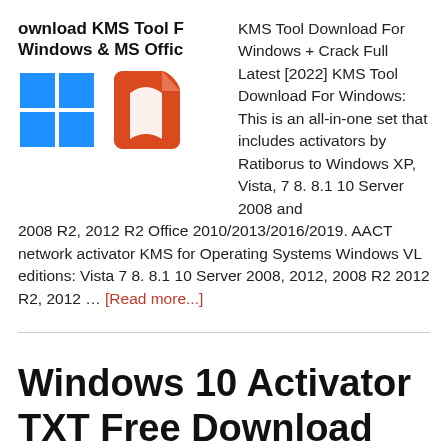ownload KMS Tool For Windows & MS Office
[Figure (illustration): Windows logo (blue four-pane window) and Microsoft Office logo (orange/red stylized document icon)]
KMS Tool Download For Windows + Crack Full Latest [2022] KMS Tool Download For Windows: This is an all-in-one set that includes activators by Ratiborus to Windows XP, Vista, 7 8. 8.1 10 Server 2008 and 2008 R2, 2012 R2 Office 2010/2013/2016/2019. AACT network activator KMS for Operating Systems Windows VL editions: Vista 7 8. 8.1 10 Server 2008, 2012, 2008 R2 2012 R2, 2012 … [Read more...]
Windows 10 Activator TXT Free Download